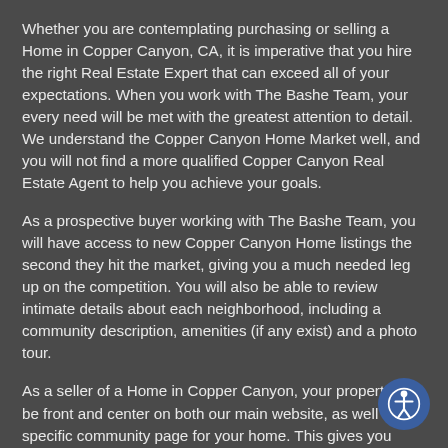Whether you are contemplating purchasing or selling a Home in Copper Canyon, CA, it is imperative that you hire the right Real Estate Expert that can exceed all of your expectations. When you work with The Bashe Team, your every need will be met with the greatest attention to detail. We understand the Copper Canyon Home Market well, and you will not find a more qualified Copper Canyon Real Estate Agent to help you achieve your goals.
As a prospective buyer working with The Bashe Team, you will have access to new Copper Canyon Home listings the second they hit the market, giving you a much needed leg up on the competition. You will also be able to review intimate details about each neighborhood, including a community description, amenities (if any exist) and a photo tour.
As a seller of a Home in Copper Canyon, your property will be front and center on both our main website, as well as the specific community page for your home. This gives you maximum exposure above what a normal Copper Canyon Realtor would provide, as our highly trafficked site will help